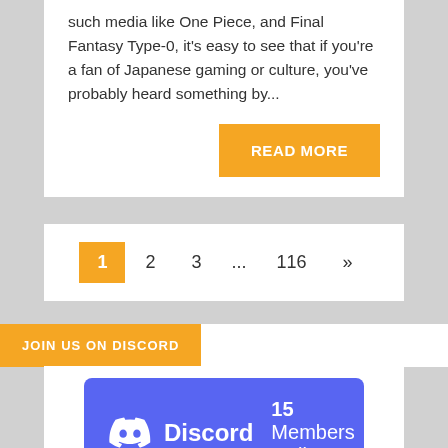such media like One Piece, and Final Fantasy Type-0, it's easy to see that if you're a fan of Japanese gaming or culture, you've probably heard something by...
READ MORE
1  2  3  ...  116  »
JOIN US ON DISCORD
Discord  15 Members Online